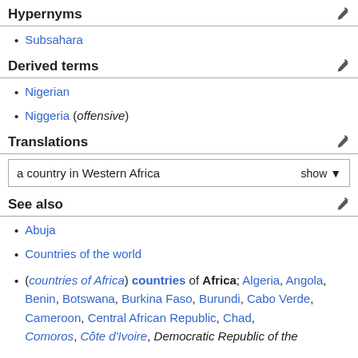Hypernyms
Subsahara
Derived terms
Nigerian
Niggeria (offensive)
Translations
| a country in Western Africa | show ▼ |
| --- | --- |
See also
Abuja
Countries of the world
(countries of Africa) countries of Africa; Algeria, Angola, Benin, Botswana, Burkina Faso, Burundi, Cabo Verde, Cameroon, Central African Republic, Chad, Comoros, Côte d'Ivoire, Democratic Republic of the